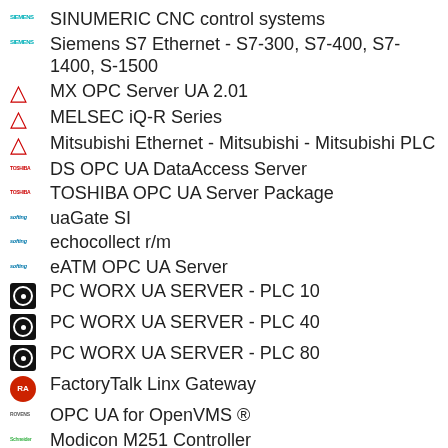SINUMERIC CNC control systems
Siemens S7 Ethernet - S7-300, S7-400, S7-1400, S-1500
MX OPC Server UA 2.01
MELSEC iQ-R Series
Mitsubishi Ethernet - Mitsubishi - Mitsubishi PLC
DS OPC UA DataAccess Server
TOSHIBA OPC UA Server Package
uaGate SI
echocollect r/m
eATM OPC UA Server
PC WORX UA SERVER - PLC 10
PC WORX UA SERVER - PLC 40
PC WORX UA SERVER - PLC 80
FactoryTalk Linx Gateway
OPC UA for OpenVMS ®
Modicon M251 Controller
Modicon M241 Controller